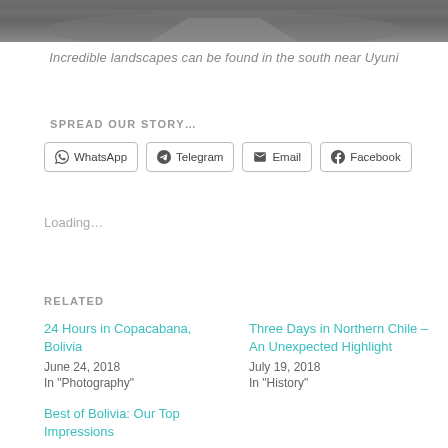[Figure (photo): Landscape photo strip at top of page showing desert/road scene near Uyuni]
Incredible landscapes can be found in the south near Uyuni
SPREAD OUR STORY…
WhatsApp  Telegram  Email  Facebook
Loading…
RELATED
24 Hours in Copacabana, Bolivia
June 24, 2018
In "Photography"
Three Days in Northern Chile – An Unexpected Highlight
July 19, 2018
In "History"
Best of Bolivia: Our Top Impressions